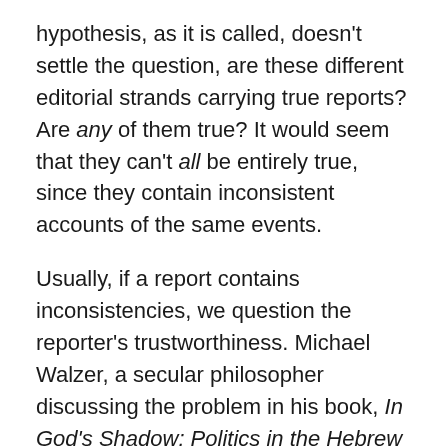hypothesis, as it is called, doesn't settle the question, are these different editorial strands carrying true reports? Are any of them true? It would seem that they can't all be entirely true, since they contain inconsistent accounts of the same events.
Usually, if a report contains inconsistencies, we question the reporter's trustworthiness. Michael Walzer, a secular philosopher discussing the problem in his book, In God's Shadow: Politics in the Hebrew Bible, explains the inconsistencies as a case rather of hyper-trust: the final editors were so sure that these materials were divinely revealed that they declined to rule on what words were and were not holy. So they included them all and let the chips fall where they fell.
In other words, they thought that, inconsistent or not, it